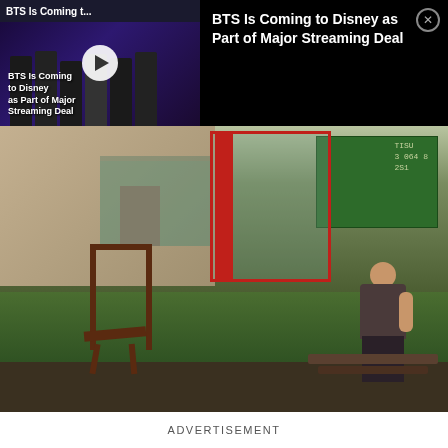[Figure (screenshot): Video thumbnail showing BTS group members in formal attire on dark purple/blue background, with play button overlay. Top label reads 'BTS Is Coming t...' and bottom overlay text reads 'BTS Is Coming to Disney as Part of Major Streaming Deal']
BTS Is Coming to Disney as Part of Major Streaming Deal
[Figure (photo): Outdoor scene with a wooden rocking chair in the foreground, red door frame on a building, green shipping container in background labeled TISU 30648 2S1, lush green plants/shrubs, and a woman in dark clothing sitting on a bench to the right]
ADVERTISEMENT